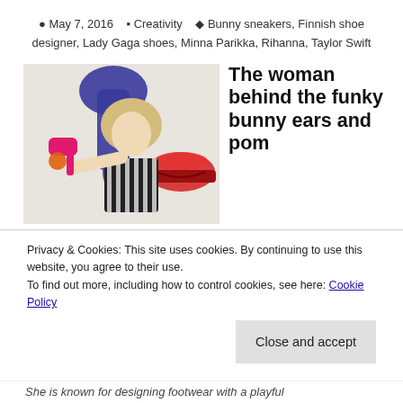May 7, 2016   Creativity   Bunny sneakers, Finnish shoe designer, Lady Gaga shoes, Minna Parikka, Rihanna, Taylor Swift
[Figure (photo): Woman holding a bright pink high-heel shoe with orange pom-pom, looking at it, with colorful pop-art background]
The woman behind the funky bunny ears and pom
Privacy & Cookies: This site uses cookies. By continuing to use this website, you agree to their use.
To find out more, including how to control cookies, see here: Cookie Policy
Close and accept
She is known for designing footwear with a playful